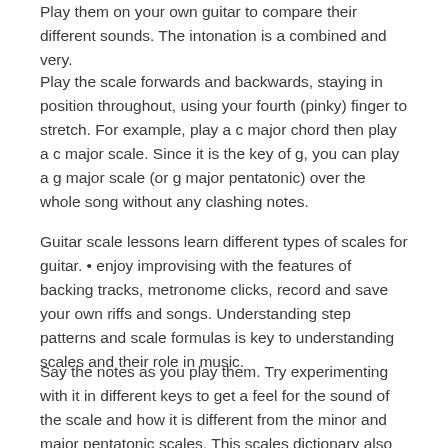Play them on your own guitar to compare their different sounds. The intonation is a combined and very.
Play the scale forwards and backwards, staying in position throughout, using your fourth (pinky) finger to stretch. For example, play a c major chord then play a c major scale. Since it is the key of g, you can play a g major scale (or g major pentatonic) over the whole song without any clashing notes.
Guitar scale lessons learn different types of scales for guitar. • enjoy improvising with the features of backing tracks, metronome clicks, record and save your own riffs and songs. Understanding step patterns and scale formulas is key to understanding scales and their role in music.
Say the notes as you play them. Try experimenting with it in different keys to get a feel for the sound of the scale and how it is different from the minor and major pentatonic scales. This scales dictionary also provides the name of the notes and the intervals